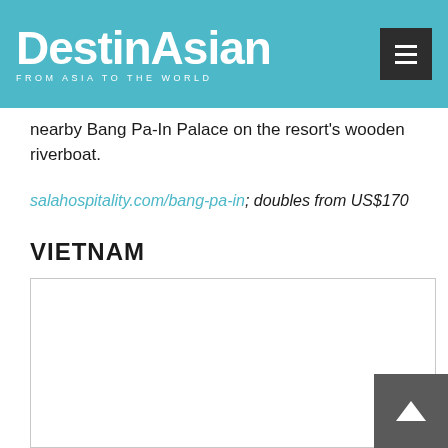DestinAsian — FROM ASIA TO THE WORLD
nearby Bang Pa-In Palace on the resort's wooden riverboat.
salahospitality.com/bang-pa-in; doubles from US$170
VIETNAM
[Figure (photo): White/blank image placeholder for Vietnam section]